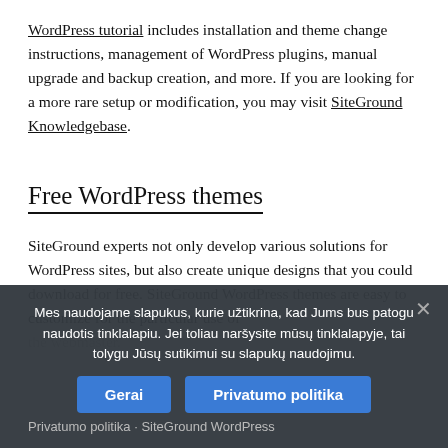WordPress tutorial includes installation and theme change instructions, management of WordPress plugins, manual upgrade and backup creation, and more. If you are looking for a more rare setup or modification, you may visit SiteGround Knowledgebase.
Free WordPress themes
SiteGround experts not only develop various solutions for WordPress sites, but also create unique designs that you could download for free. SiteGround WordPress themes are easy to customize for the particular use of the webmaster.
Mes naudojame slapukus, kurie užtikrina, kad Jums bus patogu naudotis tinklalapiu. Jei toliau naršysite mūsų tinklalapyje, tai tolygu Jūsų sutikimui su slapukų naudojimu.
Gerai   Privatumo politika
Privatumo politika · SiteGround WordPress